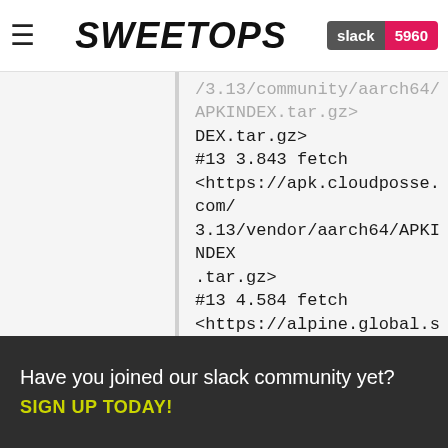SweetOps | slack 5960
DEX.tar.gz>
#13 3.843 fetch <https://apk.cloudposse.com/3.13/vendor/aarch64/APKINDEX.tar.gz>
#13 4.584 fetch <https://alpine.global.ssl.fastly.net/alpine/edge/testing/aarch64/APKINDEX.tar.gz>
#13 5.378 fetch <https://alpine.global.ssl.fastly.net/alpine/edge/community/aarch64/APKINDEX.tar.gz>
#13 6.044 ERROR: unable to select packages:
#13 6.044   awless (no such package):
#13 6.044     required by:
Have you joined our slack community yet?
SIGN UP TODAY!